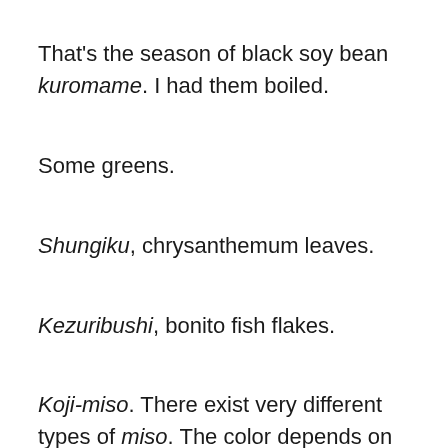That's the season of black soy bean kuromame. I had them boiled.
Some greens.
Shungiku, chrysanthemum leaves.
Kezuribushi, bonito fish flakes.
Koji-miso. There exist very different types of miso. The color depends on ingredients. The more rice, the whiter,